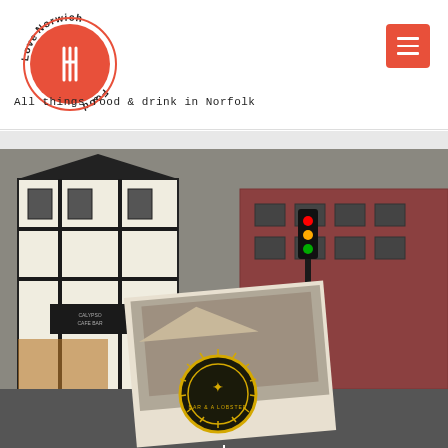[Figure (logo): Love Norwich Food logo — circular red emblem with fork, surrounded by curved text reading 'Love Norwich Food']
All things food & drink in Norfolk
[Figure (photo): Street scene in Norwich showing a black-and-white Tudor-style building (Calypso Cafe Bar) on the left, brick buildings with shops along the street, traffic lights, and in the foreground a held-up photograph/card with a building image and a circular gold and black logo badge.]